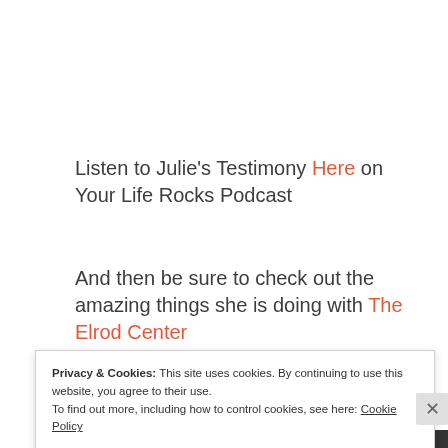Listen to Julie's Testimony Here on Your Life Rocks Podcast
And then be sure to check out the amazing things she is doing with The Elrod Center
Privacy & Cookies: This site uses cookies. By continuing to use this website, you agree to their use.
To find out more, including how to control cookies, see here: Cookie Policy